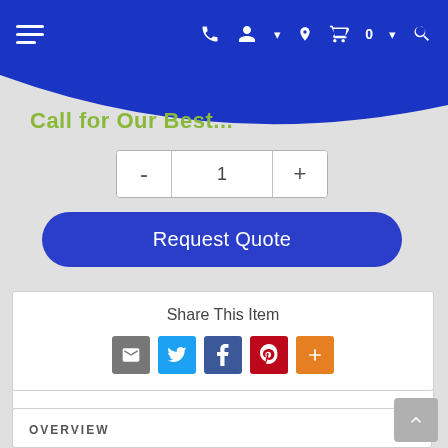Navigation bar with hamburger menu, phone, account, location, cart (0), and search icons
Call for Our Best...
[Figure (screenshot): Quantity selector with minus button, value 1, and plus button]
[Figure (screenshot): Request Quote button (blue pill-shaped button)]
Share This Item
[Figure (infographic): Social share icons: Email (grey), Twitter (blue), Facebook (blue), Pinterest (red), More (orange)]
OVERVIEW